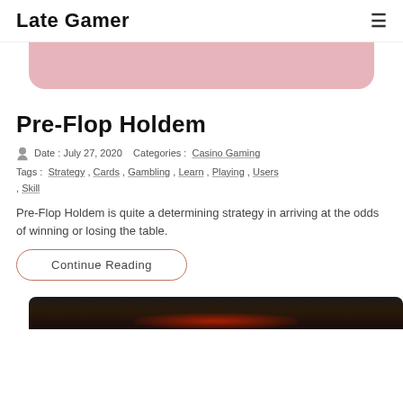Late Gamer
[Figure (other): Pink/rose colored banner image partially visible at top of article]
Pre-Flop Holdem
Date : July 27, 2020   Categories :  Casino Gaming
Tags :  Strategy , Cards , Gambling , Learn , Playing , Users , Skill
Pre-Flop Holdem is quite a determining strategy in arriving at the odds of winning or losing the table.
Continue Reading
[Figure (photo): Dark background image with red glowing keyboard/gaming equipment, partially visible at bottom of page]